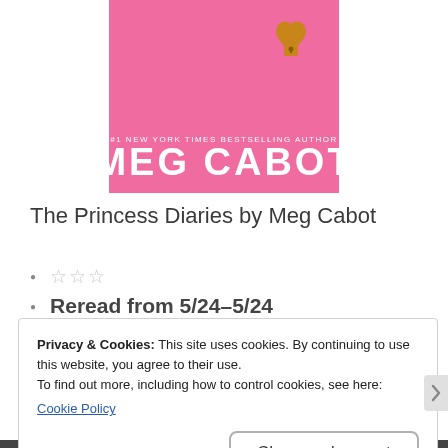[Figure (illustration): Book cover of The Princess Diaries by Meg Cabot: pink background with a gold heart-shaped lock at top right, author name 'MEG CABOT' in large white text at the bottom, with '#1 NEW YORK TIMES BESTSELLING AUTHOR' above in smaller text.]
The Princess Diaries by Meg Cabot
☆☆☆ (star rating, empty stars)
Reread from 5/24-5/24
Privacy & Cookies: This site uses cookies. By continuing to use this website, you agree to their use.
To find out more, including how to control cookies, see here:
Cookie Policy